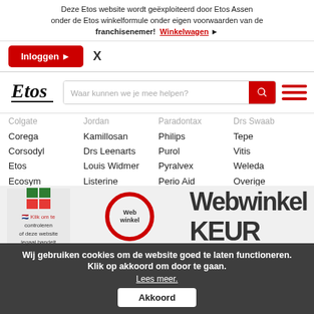Deze Etos website wordt geëxploiteerd door Etos Assen onder de Etos winkelformule onder eigen voorwaarden van de franchisenemer! Winkelwagen ▶
Inloggen ▶  X
[Figure (logo): Etos logo with italic script text and underline]
Waar kunnen we je mee helpen?
Colgate
Corega
Corsodyl
Etos
Ecosym
Elmex
Evisense
Fixodent
Jordan
Kamillosan
Drs Leenarts
Louis Widmer
Listerine
Lactona
Meridol
Maybelinne
Paradontax
Philips
Purol
Pyralvex
Perio Aid
Prodent
Rosebud S.
Sorefix
Drs Swaab
Tepe
Vitis
Weleda
Overige
Homepage
Webshop A-Z
Wij gebruiken cookies om de website goed te laten functioneren. Klik op akkoord om door te gaan. Lees meer.
Akkoord